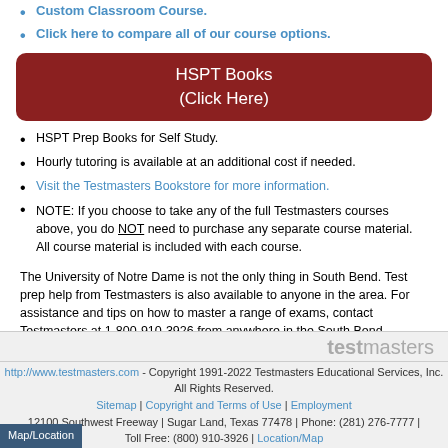Custom Classroom Course.
Click here to compare all of our course options.
[Figure (other): Red rounded rectangle button labeled HSPT Books (Click Here)]
HSPT Prep Books for Self Study.
Hourly tutoring is available at an additional cost if needed.
Visit the Testmasters Bookstore for more information.
NOTE: If you choose to take any of the full Testmasters courses above, you do NOT need to purchase any separate course material. All course material is included with each course.
The University of Notre Dame is not the only thing in South Bend. Test prep help from Testmasters is also available to anyone in the area. For assistance and tips on how to master a range of exams, contact Testmasters at 1-800-910-3926 from anywhere in the South Bend, Indiana, area: Ardmore, Notre Dame, Roseland, Mishawaka, Gulivoire Park, Lydick, Granger, Crumstown, Olive, Elkhart, Osceola, or New Carlisle.
testmasters | http://www.testmasters.com - Copyright 1991-2022 Testmasters Educational Services, Inc. All Rights Reserved. | Sitemap | Copyright and Terms of Use | Employment | 12100 Southwest Freeway | Sugar Land, Texas 77478 | Phone: (281) 276-7777 | Toll Free: (800) 910-3926 | Location/Map | Map/Location